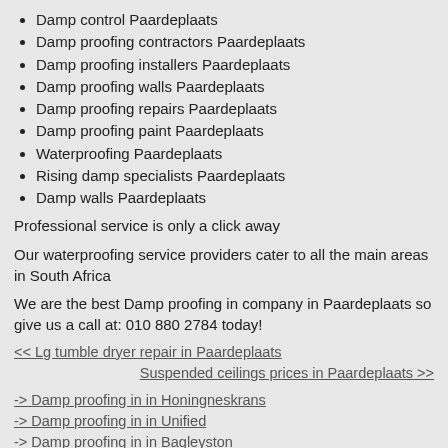Damp control Paardeplaats
Damp proofing contractors Paardeplaats
Damp proofing installers Paardeplaats
Damp proofing walls Paardeplaats
Damp proofing repairs Paardeplaats
Damp proofing paint Paardeplaats
Waterproofing Paardeplaats
Rising damp specialists Paardeplaats
Damp walls Paardeplaats
Professional service is only a click away
Our waterproofing service providers cater to all the main areas in South Africa
We are the best Damp proofing in company in Paardeplaats so give us a call at: 010 880 2784 today!
<< Lg tumble dryer repair in Paardeplaats
Suspended ceilings prices in Paardeplaats >>
-> Damp proofing in in Honingneskrans
-> Damp proofing in in Unified
-> Damp proofing in in Bagleyston
-> Damp proofing in in Windmill Park
-> Damp proofing in in Verwoerdpark
-> Damp proofing in in Villa Rosa